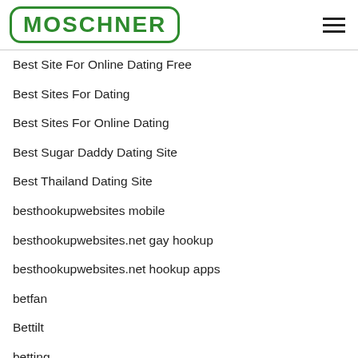MOSCHNER
Best Site For Online Dating Free
Best Sites For Dating
Best Sites For Online Dating
Best Sugar Daddy Dating Site
Best Thailand Dating Site
besthookupwebsites mobile
besthookupwebsites.net gay hookup
besthookupwebsites.net hookup apps
betfan
Bettilt
betting
bgclive dating